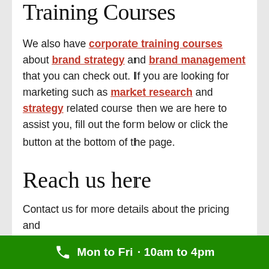Training Courses
We also have corporate training courses about brand strategy and brand management that you can check out. If you are looking for marketing such as market research and strategy related course then we are here to assist you, fill out the form below or click the button at the bottom of the page.
Reach us here
Contact us for more details about the pricing and
Mon to Fri · 10am to 4pm